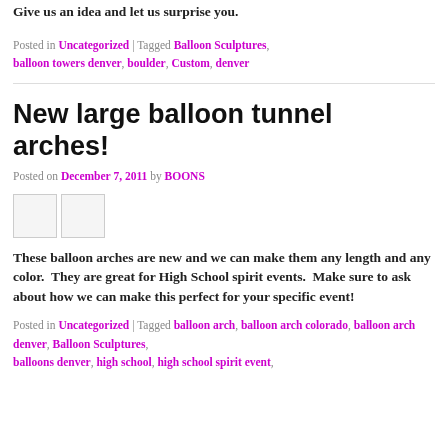Give us an idea and let us surprise you.
Posted in Uncategorized | Tagged Balloon Sculptures, balloon towers denver, boulder, Custom, denver
New large balloon tunnel arches!
Posted on December 7, 2011 by BOONS
[Figure (photo): Two small thumbnail images of balloon tunnel arches]
These balloon arches are new and we can make them any length and any color.  They are great for High School spirit events.  Make sure to ask about how we can make this perfect for your specific event!
Posted in Uncategorized | Tagged balloon arch, balloon arch colorado, balloon arch denver, Balloon Sculptures, balloons denver, high school, high school spirit event,